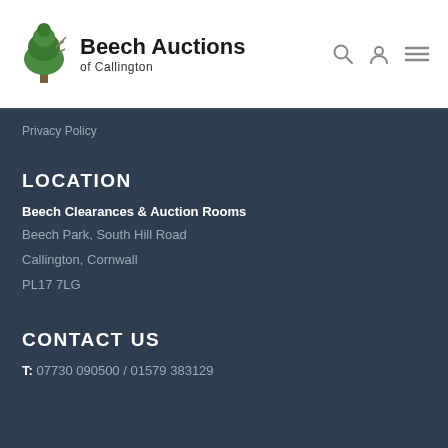[Figure (logo): Beech Auctions of Callington logo with a green tree illustration and text 'Beech Auctions of Callington']
Privacy Policy
LOCATION
Beech Clearances & Auction Rooms
Beech Park, South Hill Road
Callington, Cornwall
PL17 7LG
CONTACT US
T: 07730 090500 / 01579 383129